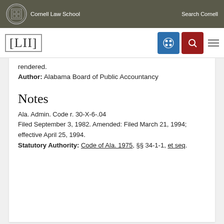Cornell Law School | Search Cornell
[Figure (logo): LII Legal Information Institute logo with navigation icons]
rendered.
Author: Alabama Board of Public Accountancy
Notes
Ala. Admin. Code r. 30-X-6-.04
Filed September 3, 1982. Amended: Filed March 21, 1994; effective April 25, 1994.
Statutory Authority: Code of Ala. 1975, §§ 34-1-1, et seq.